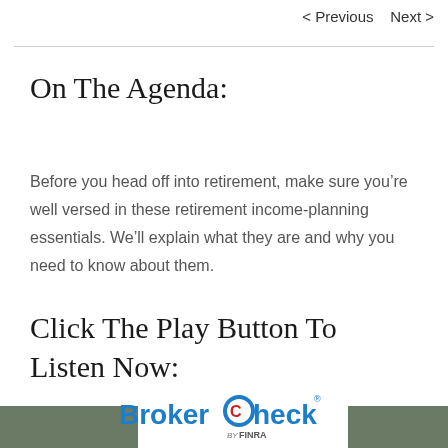< Previous   Next >
On The Agenda:
Before you head off into retirement, make sure you’re well versed in these retirement income-planning essentials. We’ll explain what they are and why you need to know about them.
Click The Play Button To Listen Now:
[Figure (logo): BrokerCheck by FINRA logo with dark green bar sections on left and right]